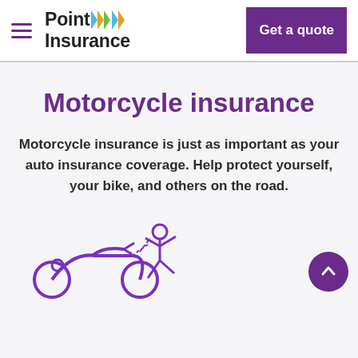Point Insurance — navigation header with hamburger menu and Get a quote button
Motorcycle insurance
Motorcycle insurance is just as important as your auto insurance coverage. Help protect yourself, your bike, and others on the road.
[Figure (illustration): Purple line illustration of a motorcycle accident with a person being ejected from a motorcycle]